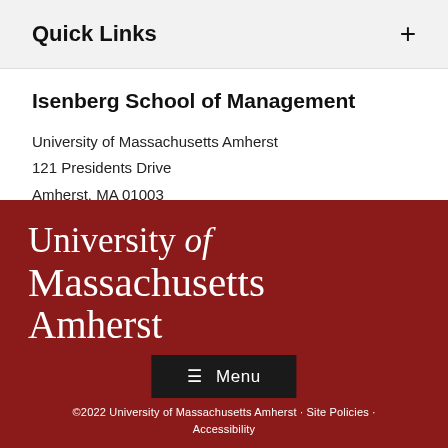Quick Links +
Isenberg School of Management
University of Massachusetts Amherst
121 Presidents Drive
Amherst, MA 01003
[Figure (logo): University of Massachusetts Amherst logo in white text on dark red background]
©2022 University of Massachusetts Amherst · Site Policies · Accessibility